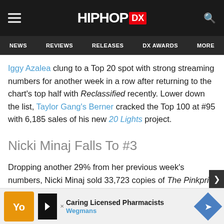HIPHOP DX — NEWS | REVIEWS | RELEASES | DX AWARDS | MORE
Iggy Azalea clung to a Top 20 spot with strong streaming numbers for another week in a row after returning to the chart's top half with Reclassified recently. Lower down the list, Taylor Gang's Berner cracked the Top 100 at #95 with 6,185 sales of his new 20 Lights project.
Nicki Minaj Falls To #3
Dropping another 29% from her previous week's numbers, Nicki Minaj sold 33,723 copies of The Pinkprint last week and brought her total albums sold count up to 388,200. The album's consistently strong streaming numbers helped with just over...